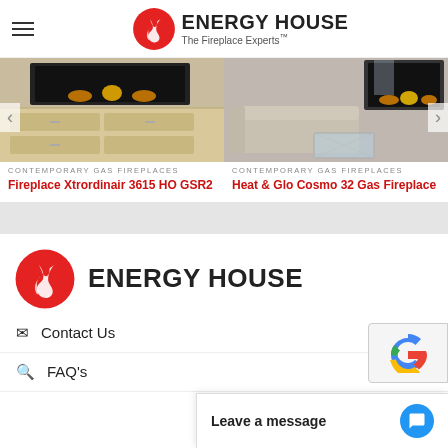ENERGY HOUSE — The Fireplace Experts
[Figure (photo): Interior room with contemporary gas fireplace built into a light wood wall with drawers and cabinetry — Fireplace Xtrordinair 3615 HO GSR2]
CONTEMPORARY GAS FIREPLACES
Fireplace Xtrordinair 3615 HO GSR2
[Figure (photo): Modern living room with sofa, glass coffee table, and contemporary gas fireplace — Heat & Glo Cosmo 32 Gas Fireplace]
CONTEMPORARY GAS FIREPLACES
Heat & Glo Cosmo 32 Gas Fireplace
[Figure (logo): Energy House logo — red flame swirl icon with ENERGY HOUSE text]
Contact Us
FAQ's
Leave a message